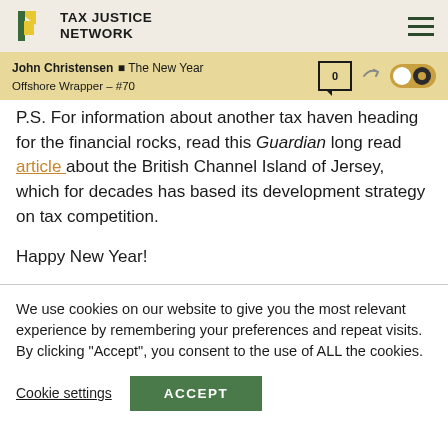TAX JUSTICE NETWORK
John Christensen ■ The New Year Offshore Wrapper – #70
P.S. For information about another tax haven heading for the financial rocks, read this Guardian long read article about the British Channel Island of Jersey, which for decades has based its development strategy on tax competition.

Happy New Year!
We use cookies on our website to give you the most relevant experience by remembering your preferences and repeat visits. By clicking "Accept", you consent to the use of ALL the cookies.
Cookie settings   ACCEPT